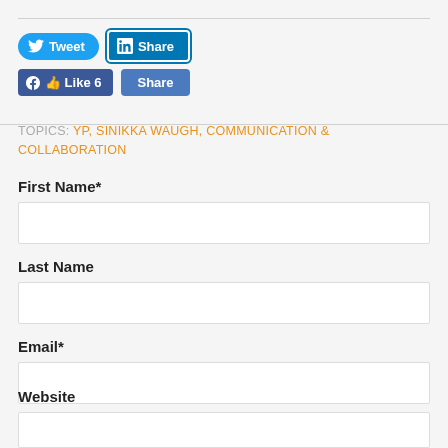[Figure (screenshot): Social media sharing buttons: Tweet (Twitter, blue rounded), Share (LinkedIn, blue rectangular), Like 6 (Facebook, blue), Share (blue rectangular)]
TOPICS: YP, SINIKKA WAUGH, COMMUNICATION & COLLABORATION
First Name*
Last Name
Email*
Website